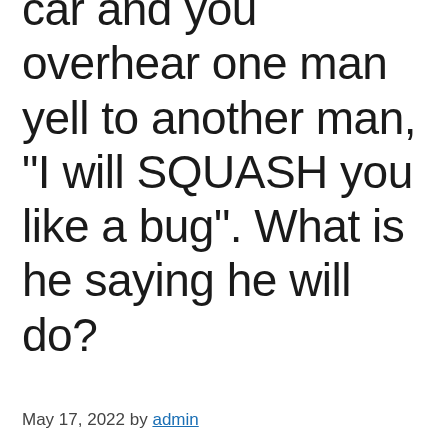car and you overhear one man yell to another man, "I will SQUASH you like a bug". What is he saying he will do?
May 17, 2022 by admin